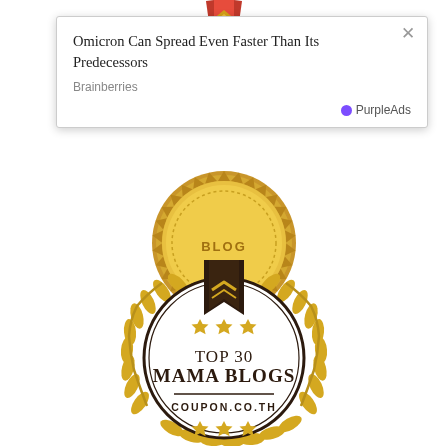[Figure (illustration): Partial gold medal/ribbon visible at top center of page]
[Figure (other): Ad popup overlay with close button showing article 'Omicron Can Spread Even Faster Than Its Predecessors' from Brainberries, with PurpleAds branding]
[Figure (illustration): Partial gold medallion badge showing 'BLOG' text, golden serrated circular shape, visible in middle area under popup]
[Figure (logo): Award badge: laurel wreath in gold surrounding a circle with dark bookmark ribbon at top, three gold stars, text 'TOP 30 MAMA BLOGS' in bold serif, horizontal line, 'COUPON.CO.TH' below, three gold stars at bottom inside circle]